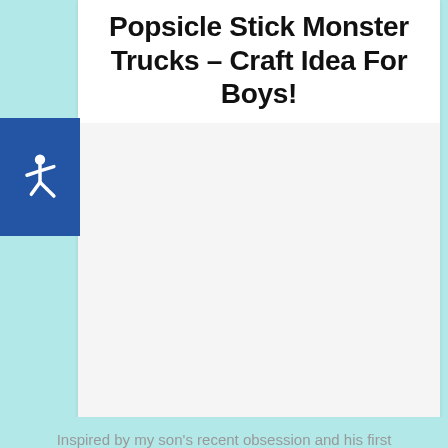Popsicle Stick Monster Trucks – Craft Idea For Boys!
[Figure (illustration): Accessibility icon (wheelchair symbol) on a blue square background]
[Figure (photo): Large image placeholder area, likely showing popsicle stick monster trucks craft]
Calling all my MONSTER JAM lovers out there! I have the BEST kids craft idea for you today on Glued To My Crafts!
Inspired by my son's recent obsession and his first